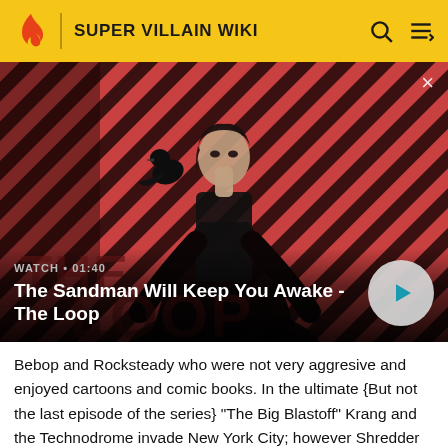SUPER VILLAIN WIKI
[Figure (screenshot): Video thumbnail showing a dark-cloaked figure with a black bird on their shoulder against a red and dark diagonal striped background, with 'THE LOOP' text visible. Video overlay shows 'WATCH • 01:40' and title 'The Sandman Will Keep You Awake - The Loop' with a play button.]
Bebop and Rocksteady who were not very aggresive and enjoyed cartoons and comic books. In the ultimate {But not the last episode of the series} "The Big Blastoff" Krang and the Technodrome invade New York City; however Shredder obsession with revenge on the TMNT gives the